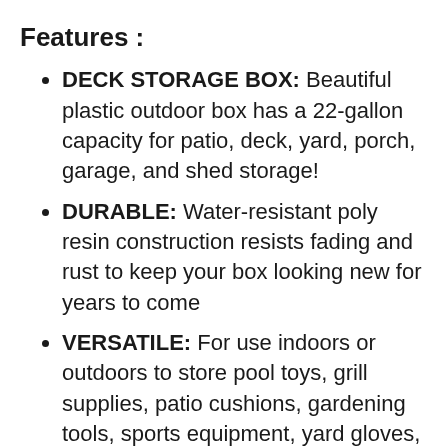Features :
DECK STORAGE BOX: Beautiful plastic outdoor box has a 22-gallon capacity for patio, deck, yard, porch, garage, and shed storage!
DURABLE: Water-resistant poly resin construction resists fading and rust to keep your box looking new for years to come
VERSATILE: For use indoors or outdoors to store pool toys, grill supplies, patio cushions, gardening tools, sports equipment, yard gloves, and more!
FUNCTIONAL DESIGN: Lid flips open on hinges for easy access to your items. Rain water flows off of the box to keep your belongings dry and free from